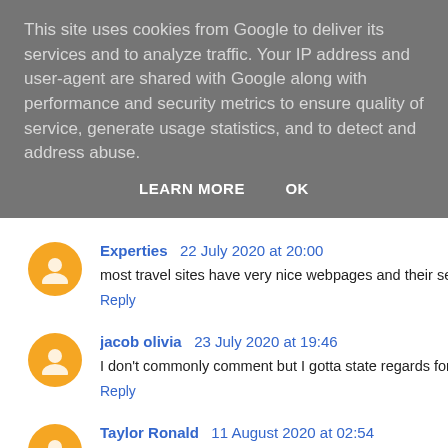This site uses cookies from Google to deliver its services and to analyze traffic. Your IP address and user-agent are shared with Google along with performance and security metrics to ensure quality of service, generate usage statistics, and to detect and address abuse.
LEARN MORE   OK
Experties  22 July 2020 at 20:00
most travel sites have very nice webpages and their services are
Reply
jacob olivia  23 July 2020 at 19:46
I don't commonly comment but I gotta state regards for the post
Reply
Taylor Ronald  11 August 2020 at 02:54
This comment has been removed by the author.